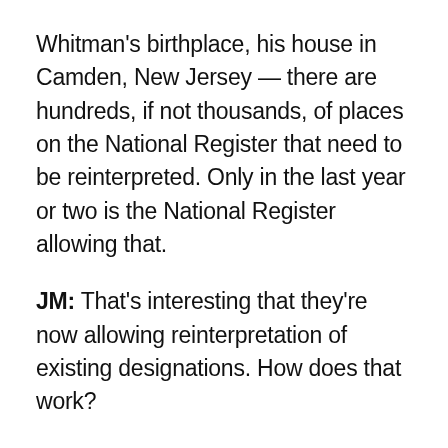Whitman's birthplace, his house in Camden, New Jersey — there are hundreds, if not thousands, of places on the National Register that need to be reinterpreted. Only in the last year or two is the National Register allowing that.
JM: That's interesting that they're now allowing reinterpretation of existing designations. How does that work?
JS: You can now do a cultural overlay. We recently did a cultural overlay of the Alice Austen House in Staten Island. It